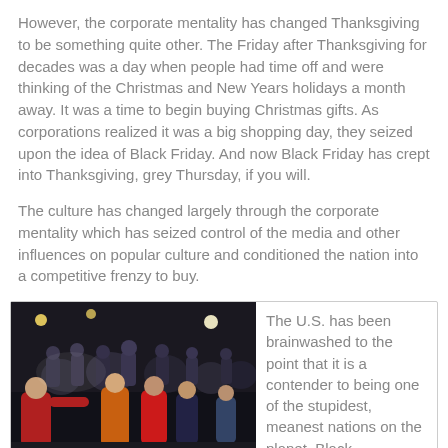However, the corporate mentality has changed Thanksgiving to be something quite other.  The Friday after Thanksgiving for decades was a day when people had time off and were thinking of the Christmas and New Years holidays a month away.  It was a time to begin buying Christmas gifts.  As corporations realized it was a big shopping day, they seized upon the idea of Black Friday.  And now Black Friday has crept into Thanksgiving, grey Thursday, if you will.

The culture has changed largely through the corporate mentality which has seized control of the media and other influences on popular culture and conditioned the nation into a competitive frenzy to buy.
[Figure (photo): A nighttime crowd scene showing people fighting or scuffling in a parking lot, apparently during a Black Friday shopping event.]
The U.S. has been brainwashed to the point that it is a contender to being one of the stupidest, meanest nations on the planet.  Black